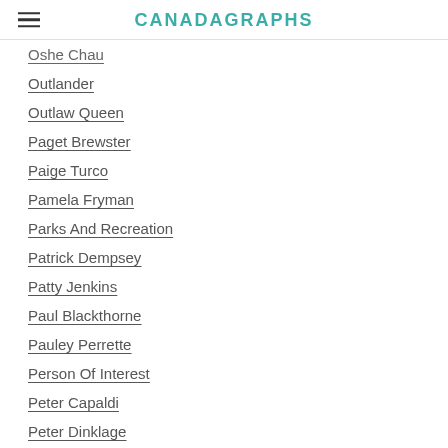CANADAGRAPHS
Oshe Chau
Outlander
Outlaw Queen
Paget Brewster
Paige Turco
Pamela Fryman
Parks And Recreation
Patrick Dempsey
Patty Jenkins
Paul Blackthorne
Pauley Perrette
Person Of Interest
Peter Capaldi
Peter Dinklage
Philip Sgriccia